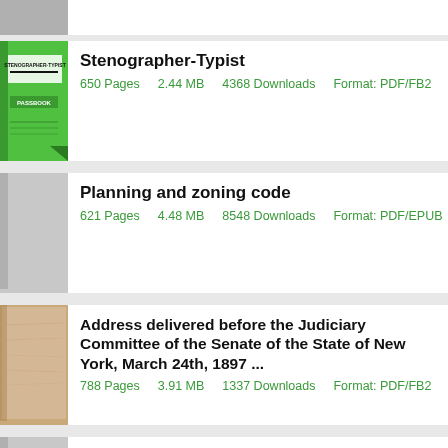[Figure (illustration): Partial gray thumbnail at top]
Stenographer-Typist
650 Pages    2.44 MB    4368 Downloads    Format: PDF/FB2
[Figure (illustration): Gray placeholder book thumbnail]
Planning and zoning code
621 Pages    4.48 MB    8548 Downloads    Format: PDF/EPUB
[Figure (photo): Aged/yellowed document cover thumbnail]
Address delivered before the Judiciary Committee of the Senate of the State of New York, March 24th, 1897 ...
788 Pages    3.91 MB    1337 Downloads    Format: PDF/FB2
[Figure (illustration): Gray placeholder thumbnail partial]
North Country Spring
742 Pages    4.41 MB    8350 Downloads    Format: PDF/EPUB